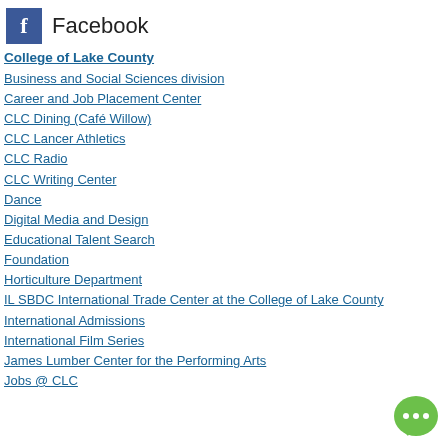[Figure (logo): Facebook logo with blue 'f' icon and 'Facebook' text]
College of Lake County
Business and Social Sciences division
Career and Job Placement Center
CLC Dining (Café Willow)
CLC Lancer Athletics
CLC Radio
CLC Writing Center
Dance
Digital Media and Design
Educational Talent Search
Foundation
Horticulture Department
IL SBDC International Trade Center at the College of Lake County
International Admissions
International Film Series
James Lumber Center for the Performing Arts
Jobs @ CLC
[Figure (illustration): Green speech bubble with three dots (chat icon)]